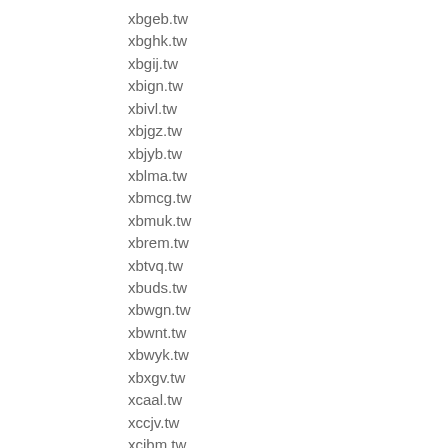xbgeb.tw
xbghk.tw
xbgij.tw
xbign.tw
xbivl.tw
xbjgz.tw
xbjyb.tw
xblma.tw
xbmcg.tw
xbmuk.tw
xbrem.tw
xbtvq.tw
xbuds.tw
xbwgn.tw
xbwnt.tw
xbwyk.tw
xbxgv.tw
xcaal.tw
xccjv.tw
xcibm.tw
xcjav.tw
xcjnl.tw
xckgx.tw
xcnkv.tw